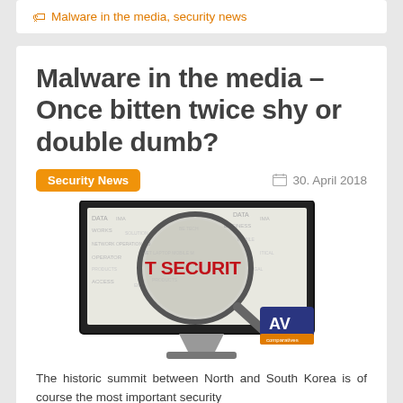Malware in the media, security news
Malware in the media – Once bitten twice shy or double dumb?
Security News   30. April 2018
[Figure (illustration): A computer monitor displaying a word cloud with IT security terms, overlaid with a magnifying glass highlighting 'IT SECURITY' in red, and an AV Comparatives logo badge in the bottom right corner.]
The historic summit between North and South Korea is of course the most important security